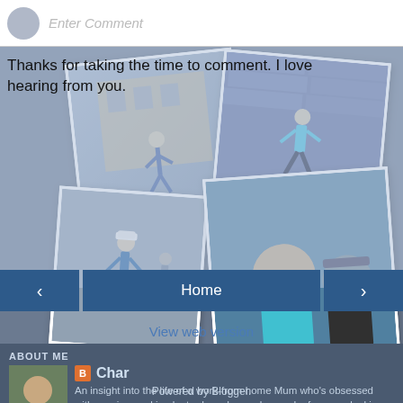[Figure (screenshot): Comment input bar with avatar placeholder and 'Enter Comment' placeholder text]
Thanks for taking the time to comment. I love hearing from you.
[Figure (photo): Collage of running/fitness photos overlapping as tilted polaroid-style cards showing a woman running in various locations]
Home
View web version
ABOUT ME
Char
An insight into the life of a work-from-home Mum who's obsessed with running, making leotards and cupcakes and, of course, looking after a menagerie of 1 husband, 3 sons, 2 dogs, 2 hens and a cockatiel.
View my complete profile
Powered by Blogger.